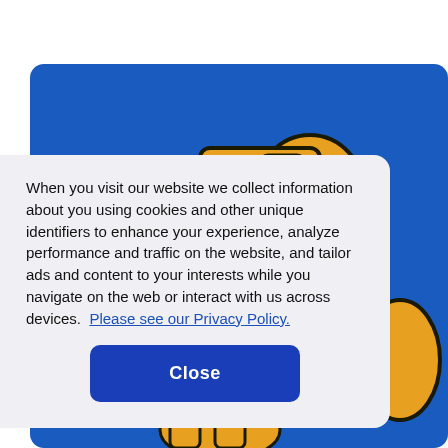[Figure (illustration): Blue background with cartoon-style golden/orange illustrated characters or logo elements visible behind the cookie consent overlay]
When you visit our website we collect information about you using cookies and other unique identifiers to enhance your experience, analyze performance and traffic on the website, and tailor ads and content to your interests while you navigate on the web or interact with us across devices.  Please see our Privacy Policy.